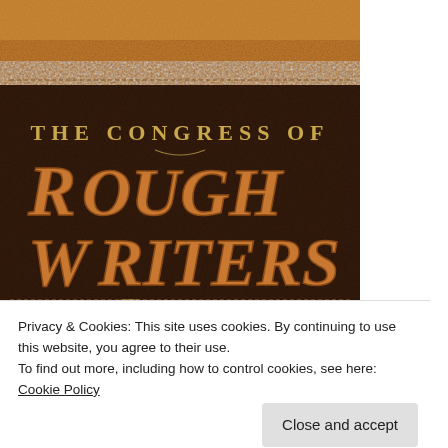[Figure (illustration): Book cover image for 'The Congress of Rough Writers' — dark brown leather-textured background with ornate golden-brown lettering. Top portion shows tan/golden leather texture. Main text reads 'The Congress of Rough Writers' in decorative western/vintage style typography with flourishes.]
Privacy & Cookies: This site uses cookies. By continuing to use this website, you agree to their use.
To find out more, including how to control cookies, see here: Cookie Policy
Close and accept